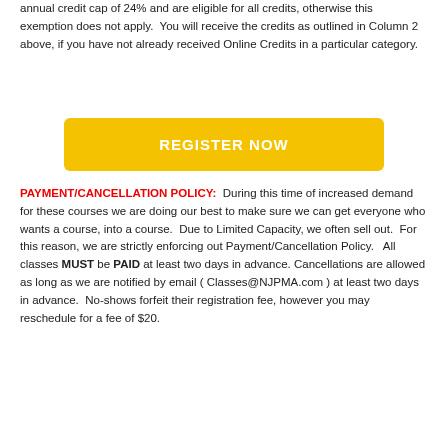annual credit cap of 24% and are eligible for all credits, otherwise this exemption does not apply. You will receive the credits as outlined in Column 2 above, if you have not already received Online Credits in a particular category.
[Figure (other): Yellow 'REGISTER NOW' button]
PAYMENT/CANCELLATION POLICY: During this time of increased demand for these courses we are doing our best to make sure we can get everyone who wants a course, into a course. Due to Limited Capacity, we often sell out. For this reason, we are strictly enforcing out Payment/Cancellation Policy. All classes MUST be PAID at least two days in advance. Cancellations are allowed as long as we are notified by email ( Classes@NJPMA.com ) at least two days in advance. No-shows forfeit their registration fee, however you may reschedule for a fee of $20.